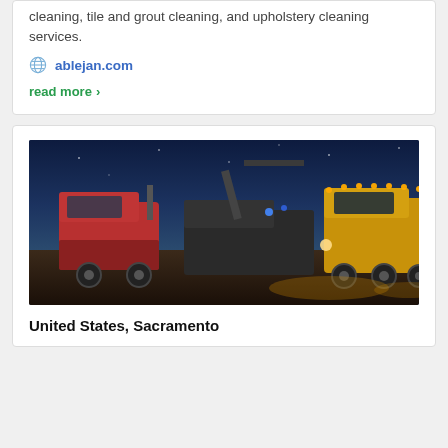cleaning, tile and grout cleaning, and upholstery cleaning services.
ablejan.com
read more
[Figure (photo): Night-time photograph of a red semi-truck being towed by a yellow tow truck with amber lights illuminated, on a dark open lot with a deep blue night sky.]
United States, Sacramento